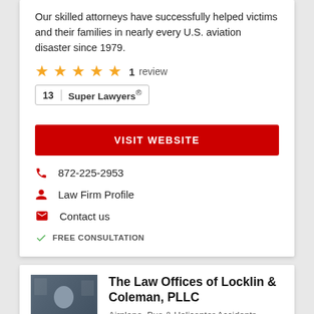Our skilled attorneys have successfully helped victims and their families in nearly every U.S. aviation disaster since 1979.
★★★★★  1  review
13  Super Lawyers®
VISIT WEBSITE
872-225-2953
Law Firm Profile
Contact us
FREE CONSULTATION
[Figure (photo): Headshot of a man in a dark suit with a tie, in front of a wall with framed documents]
The Law Offices of Locklin & Coleman, PLLC
Airplane, Bus & Helicopter Accidents Lawyers Serving Front Royal, VA (Manassas)